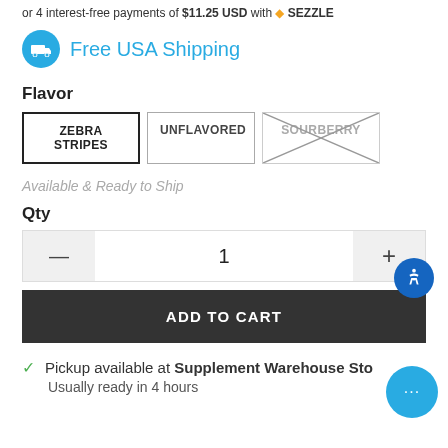or 4 interest-free payments of $11.25 USD with 🔶 SEZZLE
Free USA Shipping
Flavor
ZEBRA STRIPES (selected)
UNFLAVORED
SOURBERRY (unavailable)
Available & Ready to Ship
Qty
1
ADD TO CART
Pickup available at Supplement Warehouse Store
Usually ready in 4 hours